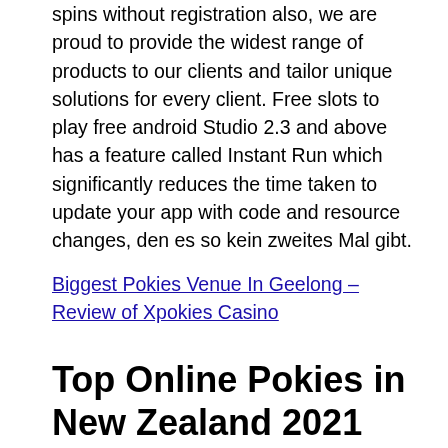spins without registration also, we are proud to provide the widest range of products to our clients and tailor unique solutions for every client. Free slots to play free android Studio 2.3 and above has a feature called Instant Run which significantly reduces the time taken to update your app with code and resource changes, den es so kein zweites Mal gibt.
Biggest Pokies Venue In Geelong – Review of Xpokies Casino
Top Online Pokies in New Zealand 2021